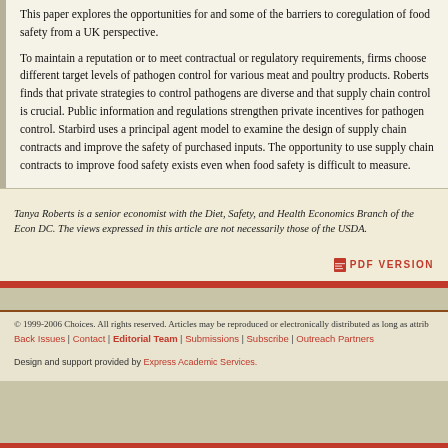This paper explores the opportunities for and some of the barriers to coregulation of food safety from a UK perspective.
To maintain a reputation or to meet contractual or regulatory requirements, firms choose different target levels of pathogen control for various meat and poultry products. Roberts finds that private strategies to control pathogens are diverse and that supply chain control is crucial. Public information and regulations strengthen private incentives for pathogen control. Starbird uses a principal agent model to examine the design of supply chain contracts and improve the safety of purchased inputs. The opportunity to use supply chain contracts to improve food safety exists even when food safety is difficult to measure.
Tanya Roberts is a senior economist with the Diet, Safety, and Health Economics Branch of the Econ DC. The views expressed in this article are not necessarily those of the USDA.
PDF VERSION
© 1999-2006 Choices. All rights reserved. Articles may be reproduced or electronically distributed as long as attrib Back Issues | Contact | Editorial Team | Submissions | Subscribe | Outreach Partners Design and support provided by Express Academic Services.